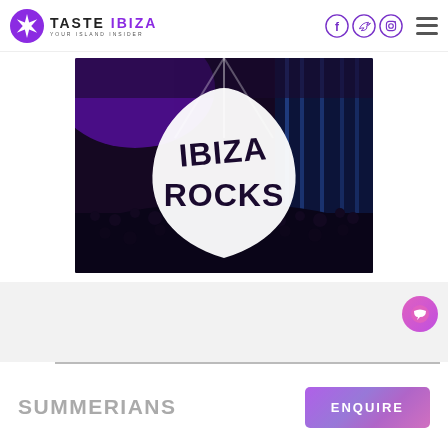TASTE IBIZA — Your Island Insider
[Figure (photo): Concert crowd photo with Ibiza Rocks guitar pick logo overlaid in white, crowd and purple stage lighting in background]
SUMMERIANS
ENQUIRE